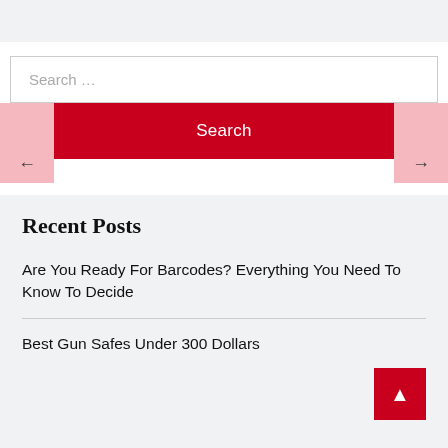Search …
Search
Recent Posts
Are You Ready For Barcodes? Everything You Need To Know To Decide
Best Gun Safes Under 300 Dollars